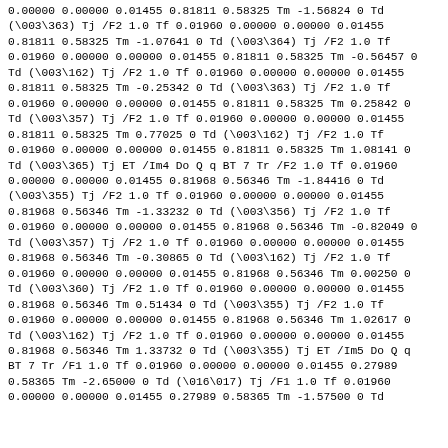0.00000 0.00000 0.01455 0.81811 0.58325 Tm -1.56824 0 Td (\003\363) Tj /F2 1.0 Tf 0.01960 0.00000 0.00000 0.01455 0.81811 0.58325 Tm -1.07641 0 Td (\003\364) Tj /F2 1.0 Tf 0.01960 0.00000 0.00000 0.01455 0.81811 0.58325 Tm -0.56457 0 Td (\003\162) Tj /F2 1.0 Tf 0.01960 0.00000 0.00000 0.01455 0.81811 0.58325 Tm -0.25342 0 Td (\003\363) Tj /F2 1.0 Tf 0.01960 0.00000 0.00000 0.01455 0.81811 0.58325 Tm 0.25842 0 Td (\003\357) Tj /F2 1.0 Tf 0.01960 0.00000 0.00000 0.01455 0.81811 0.58325 Tm 0.77025 0 Td (\003\162) Tj /F2 1.0 Tf 0.01960 0.00000 0.00000 0.01455 0.81811 0.58325 Tm 1.08141 0 Td (\003\365) Tj ET /Im4 Do Q q BT 7 Tr /F2 1.0 Tf 0.01960 0.00000 0.00000 0.01455 0.81968 0.56346 Tm -1.84416 0 Td (\003\355) Tj /F2 1.0 Tf 0.01960 0.00000 0.00000 0.01455 0.81968 0.56346 Tm -1.33232 0 Td (\003\356) Tj /F2 1.0 Tf 0.01960 0.00000 0.00000 0.01455 0.81968 0.56346 Tm -0.82049 0 Td (\003\357) Tj /F2 1.0 Tf 0.01960 0.00000 0.00000 0.01455 0.81968 0.56346 Tm -0.30865 0 Td (\003\162) Tj /F2 1.0 Tf 0.01960 0.00000 0.00000 0.01455 0.81968 0.56346 Tm 0.00250 0 Td (\003\360) Tj /F2 1.0 Tf 0.01960 0.00000 0.00000 0.01455 0.81968 0.56346 Tm 0.51434 0 Td (\003\355) Tj /F2 1.0 Tf 0.01960 0.00000 0.00000 0.01455 0.81968 0.56346 Tm 1.02617 0 Td (\003\162) Tj /F2 1.0 Tf 0.01960 0.00000 0.00000 0.01455 0.81968 0.56346 Tm 1.33732 0 Td (\003\355) Tj ET /Im5 Do Q q BT 7 Tr /F1 1.0 Tf 0.01960 0.00000 0.00000 0.01455 0.27989 0.58365 Tm -2.65000 0 Td (\016\017) Tj /F1 1.0 Tf 0.01960 0.00000 0.00000 0.01455 0.27989 0.58365 Tm -1.57500 0 Td